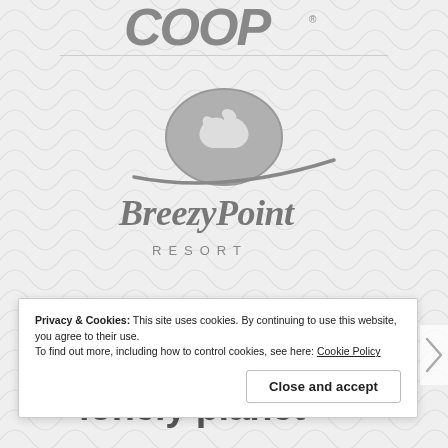[Figure (logo): COOP logo in bold italic grey letters at top of page]
[Figure (logo): Breezy Point Resort logo with bird-in-oval emblem and cursive script text, RESORT spelled below]
[Figure (logo): Lonely Planet logo with semicircle arc above bold lowercase text 'lonely planet']
Privacy & Cookies: This site uses cookies. By continuing to use this website, you agree to their use.
To find out more, including how to control cookies, see here: Cookie Policy
Close and accept